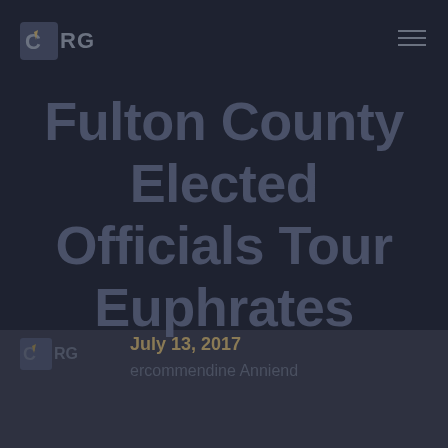CRG
Fulton County Elected Officials Tour Euphrates
July 13, 2017
ercommendine Anniend